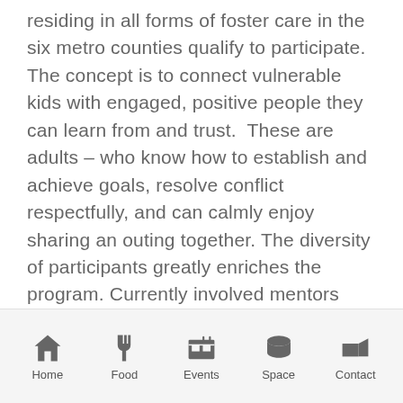residing in all forms of foster care in the six metro counties qualify to participate. The concept is to connect vulnerable kids with engaged, positive people they can learn from and trust.  These are adults – who know how to establish and achieve goals, resolve conflict respectfully, and can calmly enjoy sharing an outing together. The diversity of participants greatly enriches the program. Currently involved mentors include retired professionals, teachers, CDC employees, bus drivers, pastors, entrepreneurs, lawyers, and city of Atlanta employees.  Busy people just like us who somehow find the time to also be a lifeline.  A year ago, my own match – a quiet high school senior, could not possibly see
Home | Food | Events | Space | Contact